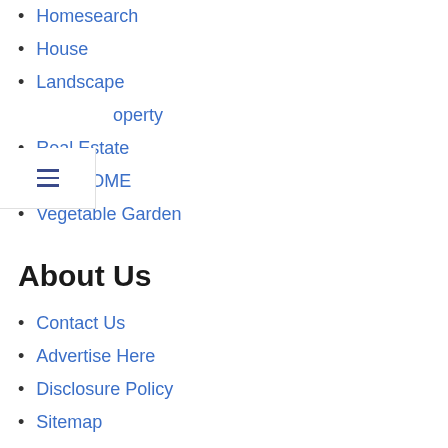Homesearch
House
Landscape
operty
Real Estate
THE HOME
Vegetable Garden
About Us
Contact Us
Advertise Here
Disclosure Policy
Sitemap
Support Links